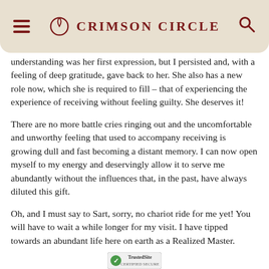CRIMSON CIRCLE
understanding was her first expression, but I persisted and, with a feeling of deep gratitude, gave back to her. She also has a new role now, which she is required to fill – that of experiencing the experience of receiving without feeling guilty. She deserves it!
There are no more battle cries ringing out and the uncomfortable and unworthy feeling that used to accompany receiving is growing dull and fast becoming a distant memory. I can now open myself to my energy and deservingly allow it to serve me abundantly without the influences that, in the past, have always diluted this gift.
Oh, and I must say to Sart, sorry, no chariot ride for me yet! You will have to wait a while longer for my visit. I have tipped towards an abundant life here on earth as a Realized Master.